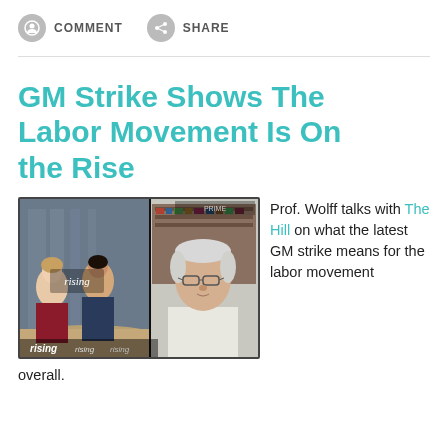COMMENT   SHARE
GM Strike Shows The Labor Movement Is On the Rise
[Figure (screenshot): Video thumbnail from 'Rising' news program showing two anchors at a desk on the left side and Prof. Wolff on the right side in a split screen. The 'rising' logo appears in the lower left.]
Prof. Wolff talks with The Hill on what the latest GM strike means for the labor movement overall.